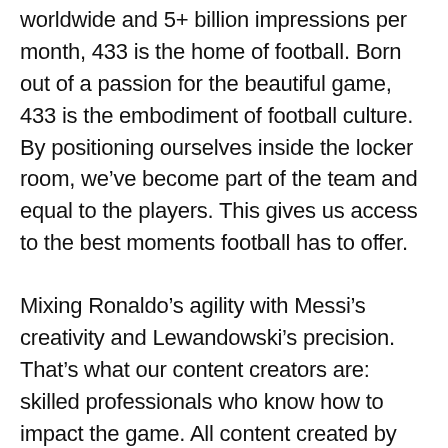worldwide and 5+ billion impressions per month, 433 is the home of football. Born out of a passion for the beautiful game, 433 is the embodiment of football culture. By positioning ourselves inside the locker room, we've become part of the team and equal to the players. This gives us access to the best moments football has to offer.
Mixing Ronaldo's agility with Messi's creativity and Lewandowski's precision. That's what our content creators are: skilled professionals who know how to impact the game. All content created by 433 Studios is